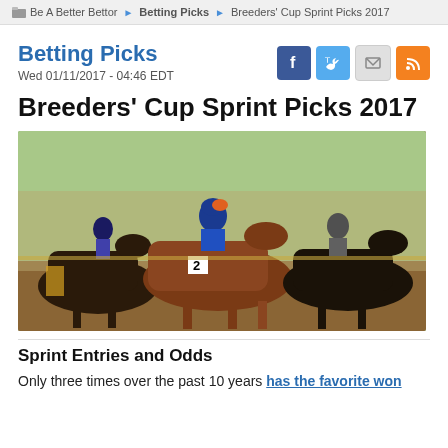Be A Better Bettor > Betting Picks > Breeders' Cup Sprint Picks 2017
Betting Picks
Wed 01/11/2017 - 04:46 EDT
Breeders' Cup Sprint Picks 2017
[Figure (photo): Horse racing photo showing multiple horses and jockeys in close competition during a race]
Sprint Entries and Odds
Only three times over the past 10 years has the favorite won